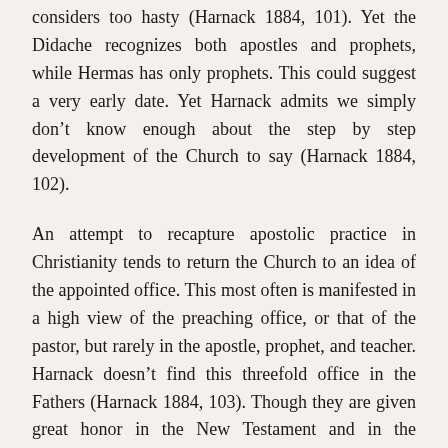considers too hasty (Harnack 1884, 101). Yet the Didache recognizes both apostles and prophets, while Hermas has only prophets. This could suggest a very early date. Yet Harnack admits we simply don't know enough about the step by step development of the Church to say (Harnack 1884, 102).
An attempt to recapture apostolic practice in Christianity tends to return the Church to an idea of the appointed office. This most often is manifested in a high view of the preaching office, or that of the pastor, but rarely in the apostle, prophet, and teacher. Harnack doesn't find this threefold office in the Fathers (Harnack 1884, 103). Though they are given great honor in the New Testament and in the Didache, they largely disappear from discussion rather early. Harnack considers it possible that, as church order and a knowledge of catholicity spread, the work of apostles and prophets would become less important (Harnack 1884, 105). We have clearer information about the organization of